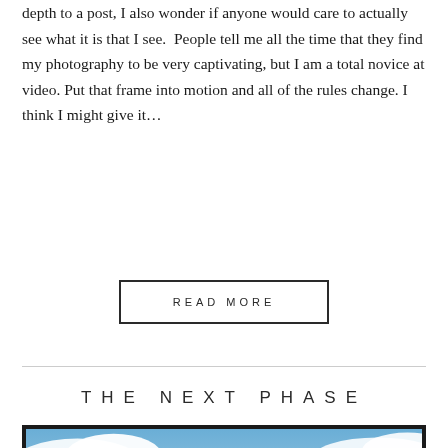depth to a post, I also wonder if anyone would care to actually see what it is that I see.  People tell me all the time that they find my photography to be very captivating, but I am a total novice at video. Put that frame into motion and all of the rules change. I think I might give it…
READ MORE
THE NEXT PHASE
[Figure (photo): Photograph of blue sky with white clouds, shown with a dark border frame, partially visible at the bottom of the page.]